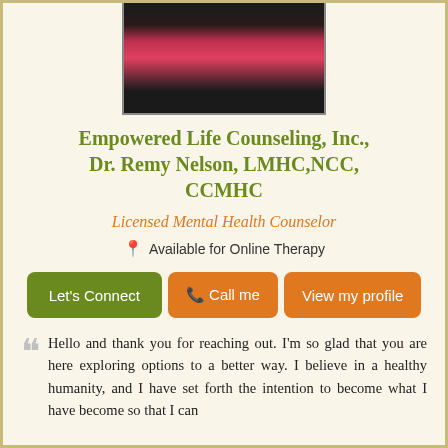[Figure (photo): Portrait photo of Dr. Remy Nelson, wearing a dark suit and red/pink shirt, cropped at the top of the page]
Empowered Life Counseling, Inc., Dr. Remy Nelson, LMHC,NCC, CCMHC
Licensed Mental Health Counselor
Available for Online Therapy
Let's Connect | Call me | View my profile
Hello and thank you for reaching out. I'm so glad that you are here exploring options to a better way. I believe in a healthy humanity, and I have set forth the intention to become what I have become so that I can